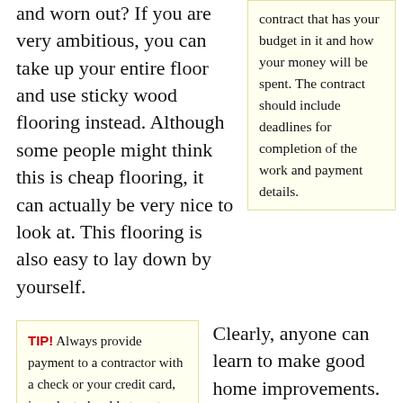and worn out? If you are very ambitious, you can take up your entire floor and use sticky wood flooring instead. Although some people might think this is cheap flooring, it can actually be very nice to look at. This flooring is also easy to lay down by yourself.
contract that has your budget in it and how your money will be spent. The contract should include deadlines for completion of the work and payment details.
TIP! Always provide payment to a contractor with a check or your credit card, in order to be able to put a stop to the transaction if you need to. This reduces
Clearly, anyone can learn to make good home improvements. If you are not experienced in this area, reading up on your next project and following some basic tips can make all the